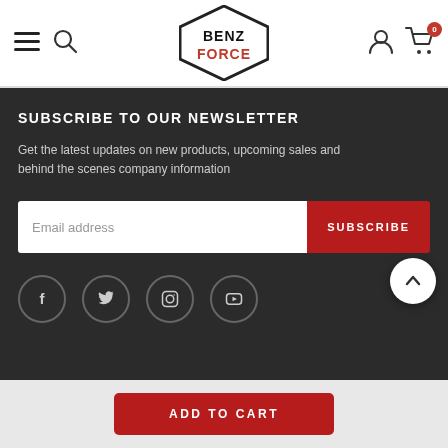[Figure (logo): BenzForce logo — diamond-shaped badge with BENZ in black bold and FORCE in red bold]
SUBSCRIBE TO OUR NEWSLETTER
Get the latest updates on new products, upcoming sales and behind the scenes company information
[Figure (other): Email address input field and SUBSCRIBE button]
[Figure (other): Social media icons: Facebook, Twitter, Instagram, YouTube]
POLICIES
[Figure (other): ADD TO CART button]